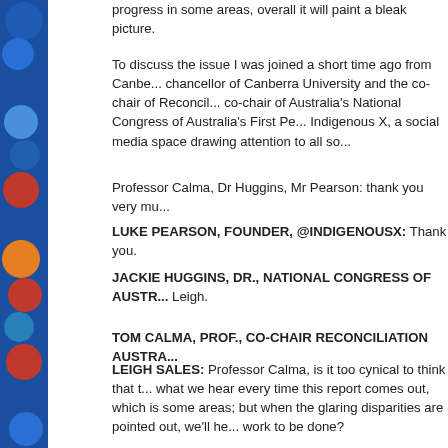progress in some areas, overall it will paint a bleak picture.
To discuss the issue I was joined a short time ago from Canberra by the vice-chancellor of Canberra University and the co-chair of Reconciliation Australia, the co-chair of Australia's National Congress of Australia's First Peoples and founder of Indigenous X, a social media space drawing attention to all sorts of issues.
Professor Calma, Dr Huggins, Mr Pearson: thank you very much for joining us.
LUKE PEARSON, FOUNDER, @INDIGENOUSX: Thank you.
JACKIE HUGGINS, DR., NATIONAL CONGRESS OF AUSTRA...: Thank you, Leigh.
TOM CALMA, PROF., CO-CHAIR RECONCILIATION AUSTRA...
LEIGH SALES: Professor Calma, is it too cynical to think that this is just what we hear every time this report comes out, which is some progress in some areas; but when the glaring disparities are pointed out, we'll hear there is still work to be done?
TOM CALMA: Oh, look, but I think the reality is that there is still... we're talking about a generational target, a generational aspira...